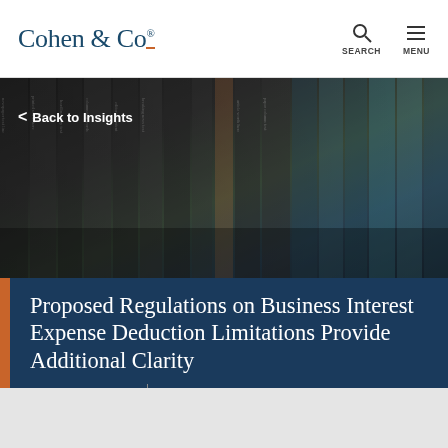Cohen & Co
[Figure (photo): Stack of rolled and folded newspapers in black and white and teal tones, viewed from the side showing spines.]
Back to Insights
Proposed Regulations on Business Interest Expense Deduction Limitations Provide Additional Clarity
December 07, 2018
Federal Tax Planning & Compliance